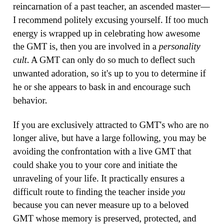reincarnation of a past teacher, an ascended master—I recommend politely excusing yourself. If too much energy is wrapped up in celebrating how awesome the GMT is, then you are involved in a personality cult. A GMT can only do so much to deflect such unwanted adoration, so it's up to you to determine if he or she appears to bask in and encourage such behavior.
If you are exclusively attracted to GMT's who are no longer alive, but have a large following, you may be avoiding the confrontation with a live GMT that could shake you to your core and initiate the unraveling of your life. It practically ensures a difficult route to finding the teacher inside you because you can never measure up to a beloved GMT whose memory is preserved, protected, and exaggerated by a legion of devotees. It can be a convenient device to stay small and convince yourself that you're growing at the same time.
There is no one GMT who will be all that you need, nor will he